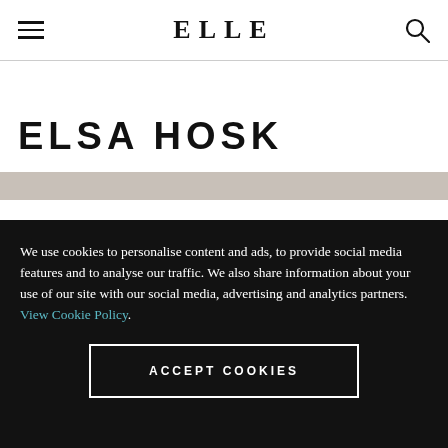ELLE
ELSA HOSK
[Figure (screenshot): Partial image strip visible below the ELSA HOSK heading]
We use cookies to personalise content and ads, to provide social media features and to analyse our traffic. We also share information about your use of our site with our social media, advertising and analytics partners. View Cookie Policy.
ACCEPT COOKIES